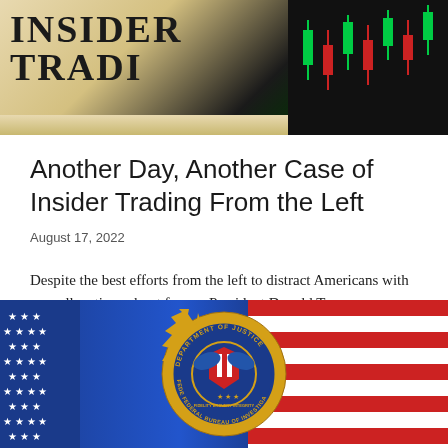[Figure (photo): Insider Trading book/text with stock market candlestick chart in background]
Another Day, Another Case of Insider Trading From the Left
August 17, 2022
Despite the best efforts from the left to distract Americans with new allegations about former President Donald Trump, news about China’s rhetoric, or nonsensical…
[Figure (photo): FBI / Department of Justice seal over American flag background]